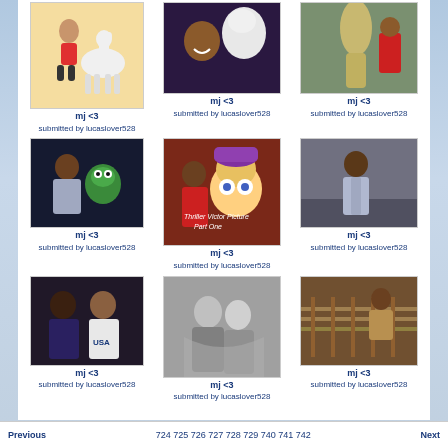[Figure (photo): Illustration of cartoon Michael Jackson with a llama]
mj <3
submitted by lucaslover528
[Figure (photo): Photo of Michael Jackson with a white llama]
mj <3
submitted by lucaslover528
[Figure (photo): Photo of Michael Jackson in red jacket with llama outdoors]
mj <3
submitted by lucaslover528
[Figure (photo): Photo of Michael Jackson with Kermit the Frog]
mj <3
submitted by lucaslover528
[Figure (photo): Photo of Michael Jackson with Dopey Disney character]
mj <3
submitted by lucaslover528
[Figure (photo): Photo of Michael Jackson on street in silver jacket]
mj <3
submitted by lucaslover528
[Figure (photo): Photo of Michael Jackson with woman in USA shirt]
mj <3
submitted by lucaslover528
[Figure (photo): Black and white portrait of two people]
mj <3
submitted by lucaslover528
[Figure (photo): Photo of Michael Jackson outdoors near fence]
mj <3
submitted by lucaslover528
Previous   724 725 726 727 728 729 740 741 742   Next